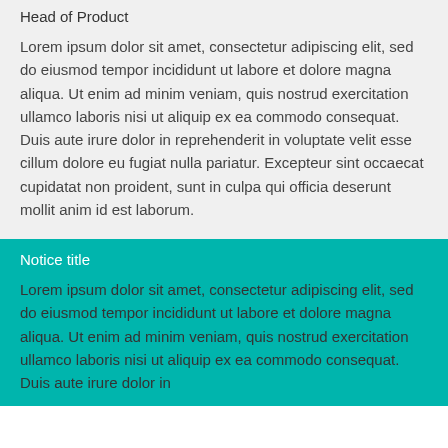Head of Product
Lorem ipsum dolor sit amet, consectetur adipiscing elit, sed do eiusmod tempor incididunt ut labore et dolore magna aliqua. Ut enim ad minim veniam, quis nostrud exercitation ullamco laboris nisi ut aliquip ex ea commodo consequat. Duis aute irure dolor in reprehenderit in voluptate velit esse cillum dolore eu fugiat nulla pariatur. Excepteur sint occaecat cupidatat non proident, sunt in culpa qui officia deserunt mollit anim id est laborum.
Notice title
Lorem ipsum dolor sit amet, consectetur adipiscing elit, sed do eiusmod tempor incididunt ut labore et dolore magna aliqua. Ut enim ad minim veniam, quis nostrud exercitation ullamco laboris nisi ut aliquip ex ea commodo consequat. Duis aute irure dolor in